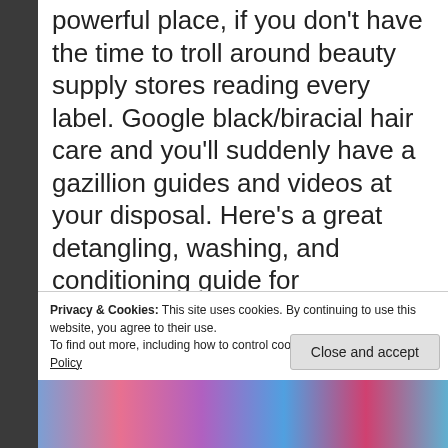powerful place, if you don't have the time to troll around beauty supply stores reading every label. Google black/biracial hair care and you'll suddenly have a gazillion guides and videos at your disposal. Here's a great detangling, washing, and conditioning guide for biracial/black hair to get your started.
Styling: A NECESSITY
Privacy & Cookies: This site uses cookies. By continuing to use this website, you agree to their use. To find out more, including how to control cookies, see here: Cookie Policy
[Figure (photo): Colorful image strip at the bottom showing children or figures with colorful hair/accessories in pink, blue, purple tones]